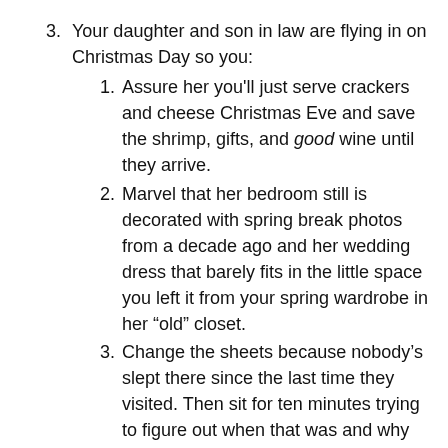3. Your daughter and son in law are flying in on Christmas Day so you:
1. Assure her you'll just serve crackers and cheese Christmas Eve and save the shrimp, gifts, and good wine until they arrive.
2. Marvel that her bedroom still is decorated with spring break photos from a decade ago and her wedding dress that barely fits in the little space you left it from your spring wardrobe in her “old” closet.
3. Change the sheets because nobody’s slept there since the last time they visited. Then sit for ten minutes trying to figure out when that was and why the room still looks like it did when she left for college, not law school — college.
4. Spend three hours running around St. Louis county picking up a “couple” of things she really wanted for